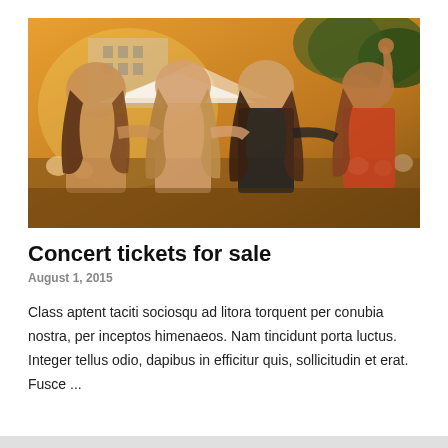[Figure (photo): Concert scene viewed from behind, showing four young women with arms around each other, crowd visible in background, warm golden-toned lighting with stage tents and trees in background.]
Concert tickets for sale
August 1, 2015
Class aptent taciti sociosqu ad litora torquent per conubia nostra, per inceptos himenaeos. Nam tincidunt porta luctus. Integer tellus odio, dapibus in efficitur quis, sollicitudin et erat. Fusce ...